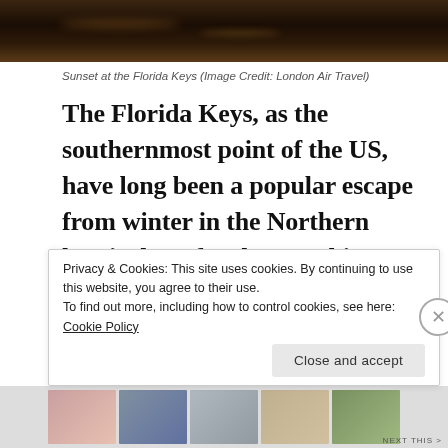[Figure (photo): Dark ocean water at sunset showing the Florida Keys, dark tones with shimmer of light on water]
Sunset at the Florida Keys (Image Credit: London Air Travel)
The Florida Keys, as the southernmost point of the US, have long been a popular escape from winter in the Northern hemisphere for those seeking a more bohemian alternative to the crowds and overt self-confidence of Miami Beach.
Privacy & Cookies: This site uses cookies. By continuing to use this website, you agree to their use.
To find out more, including how to control cookies, see here: Cookie Policy
[Figure (photo): Row of thumbnail images at bottom of page showing various travel photos]